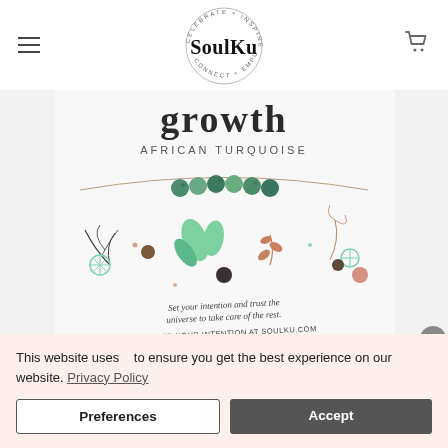[Figure (logo): SoulKu brand logo with circular text 'CELEBRATE + INSPIRE' and 'CONNECT + EMPOWER' around the SoulKu wordmark]
[Figure (photo): SoulKu product card showing an African Turquoise beaded necklace with the word 'growth' at the top, decorative botanical/floral illustrations, and text 'Set your intention and trust the universe to take care of the rest. REGISTER YOUR INTENTION AT SOULKU.COM']
This website uses   to ensure you get the best experience on our website. Privacy Policy
Preferences
Accept